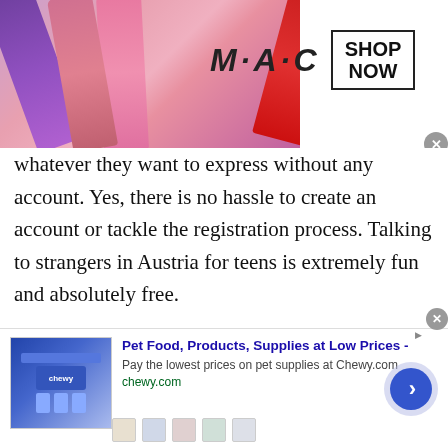[Figure (screenshot): MAC Cosmetics advertisement banner with colorful lipsticks on the left, MAC logo text in the center, a 'SHOP NOW' box with border on the right, and a red lipstick on the far right. A close button (x) is in the bottom-right corner of the banner.]
whatever they want to express without any account. Yes, there is no hassle to create an account or tackle the registration process. Talking to strangers in Austria for teens is extremely fun and absolutely free.
Teen chat helps all girls and boys to express their emotions, share suggestions or opinions and do what to get out of boredom. You can join TWS teen chat during this pandemic and experience unlimited fun and enjoyment. So, would you like to join TWS
[Figure (screenshot): Chewy.com advertisement banner at the bottom of the page. Shows pet product images on the left, bold blue title 'Pet Food, Products, Supplies at Low Prices -', description 'Pay the lowest prices on pet supplies at Chewy.com', and URL 'chewy.com'. A blue circular navigation arrow button is on the right. A close (x) button is in the top-right corner.]